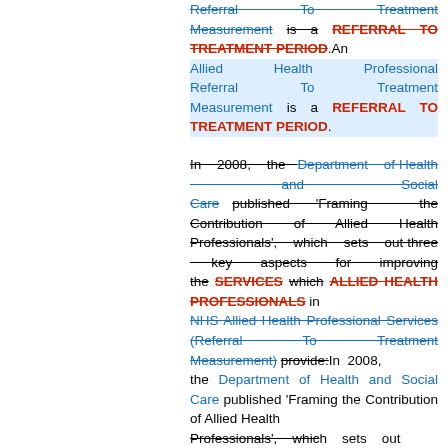Referral To Treatment Measurement is a REFERRAL TO TREATMENT PERIOD. An Allied Health Professional Referral To Treatment Measurement is a REFERRAL TO TREATMENT PERIOD.
In 2008, the Department of Health and Social Care published 'Framing the Contribution of Allied Health Professionals', which sets out three key aspects for improving the SERVICES which ALLIED HEALTH PROFESSIONALS in NHS Allied Health Professional Services (Referral To Treatment Measurement) provide: In 2008, the Department of Health and Social Care published 'Framing the Contribution of Allied Health Professionals', which sets out